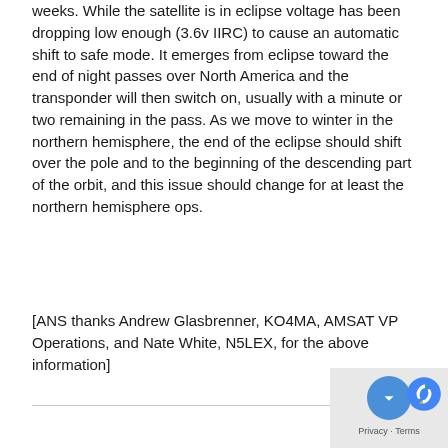weeks. While the satellite is in eclipse voltage has been dropping low enough (3.6v IIRC) to cause an automatic shift to safe mode. It emerges from eclipse toward the end of night passes over North America and the transponder will then switch on, usually with a minute or two remaining in the pass. As we move to winter in the northern hemisphere, the end of the eclipse should shift over the pole and to the beginning of the descending part of the orbit, and this issue should change for at least the northern hemisphere ops.
[ANS thanks Andrew Glasbrenner, KO4MA, AMSAT VP Operations, and Nate White, N5LEX, for the above information]